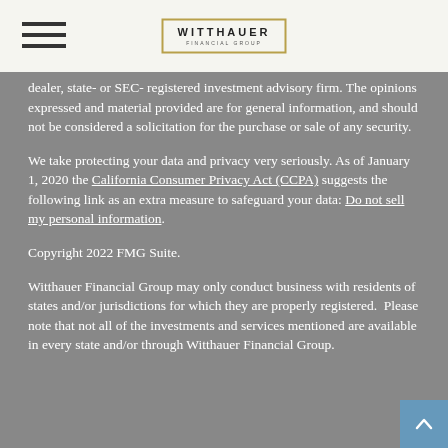WITTHAUER FINANCIAL GROUP
dealer, state- or SEC- registered investment advisory firm. The opinions expressed and material provided are for general information, and should not be considered a solicitation for the purchase or sale of any security.
We take protecting your data and privacy very seriously. As of January 1, 2020 the California Consumer Privacy Act (CCPA) suggests the following link as an extra measure to safeguard your data: Do not sell my personal information.
Copyright 2022 FMG Suite.
Witthauer Financial Group may only conduct business with residents of states and/or jurisdictions for which they are properly registered.  Please note that not all of the investments and services mentioned are available in every state and/or through Witthauer Financial Group.